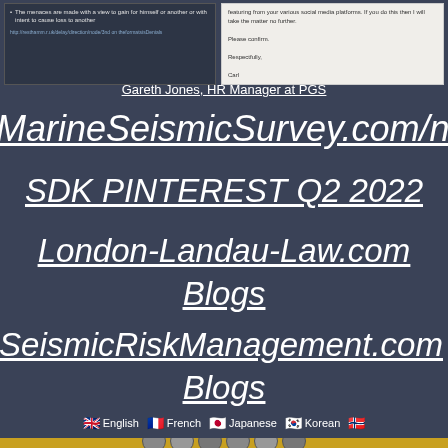[Figure (screenshot): Two screenshots side by side: left shows bullet points about menaces law, right shows an email response about social media platforms]
Gareth Jones, HR Manager at PGS
MarineSeismicSurvey.com/news
SDK PINTEREST Q2 2022
London-Landau-Law.com Blogs
SeismicRiskManagement.com Blogs
English  French  Japanese  Korean  Norwegian
[Figure (photo): PGS Exploration (UK) Limited Directors photo strip with faces]